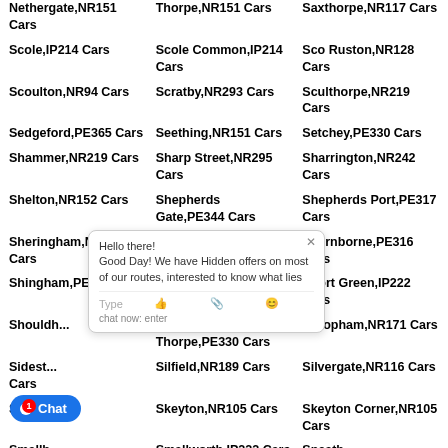Nethergate,NR151 Cars
Thorpe,NR151 Cars
Saxthorpe,NR117 Cars
Scole,IP214 Cars
Scole Common,IP214 Cars
Sco Ruston,NR128 Cars
Scoulton,NR94 Cars
Scratby,NR293 Cars
Sculthorpe,NR219 Cars
Sedgeford,PE365 Cars
Seething,NR151 Cars
Setchey,PE330 Cars
Shammer,NR219 Cars
Sharp Street,NR295 Cars
Sharrington,NR242 Cars
Shelton,NR152 Cars
Shepherds Gate,PE344 Cars
Shepherds Port,PE317 Cars
Sheringham,NR268 Cars
Sheringwood,NR268 Cars
Shernborne,PE316 Cars
Shingham,PE378 Cars
Shipdham,IP257 Cars
Short Green,IP222 Cars
Shouldham,NR... Cars
Shouldham Thorpe,PE330 Cars
Shropham,NR171 Cars
Sidestrand,NR... Cars
Silfield,NR189 Cars
Silvergate,NR116 Cars
Sisland,...
Skeyton,NR105 Cars
Skeyton Corner,NR105 Cars
Smallburgh,...
Smallworth,IP222 Cars
Sneath Common,NR152 Cars
Snetterton
Snettisham,PE317
Snow Street,IP225 Cars